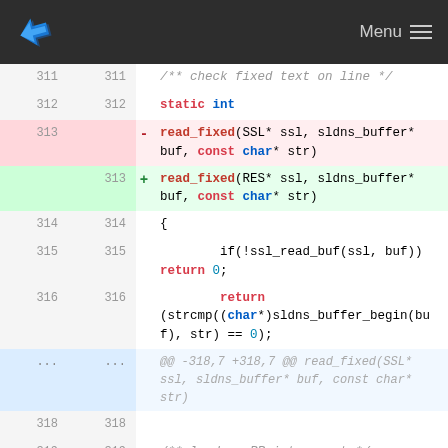[Figure (screenshot): Top navigation bar with blue arrow logo on left and 'Menu' text with hamburger icon on right, dark background]
311  311  /** check fixed text on line */
312  312  static int
313       - read_fixed(SSL* ssl, sldns_buffer* buf, const char* str)
     313  + read_fixed(RES* ssl, sldns_buffer* buf, const char* str)
314  314  {
315  315       if(!ssl_read_buf(ssl, buf)) return 0;
316  316       return (strcmp((char*)sldns_buffer_begin(buf), str) == 0);
...  ...  @@ -318,7 +318,7 @@ read_fixed(SSL* ssl, sldns_buffer* buf, const char* str)
318  318  
319  319  /** load an RR into rrset */
320  320  static int
321       - load_rr(SSL* ssl, sldns_buffer* buf,
              struct regional* region,